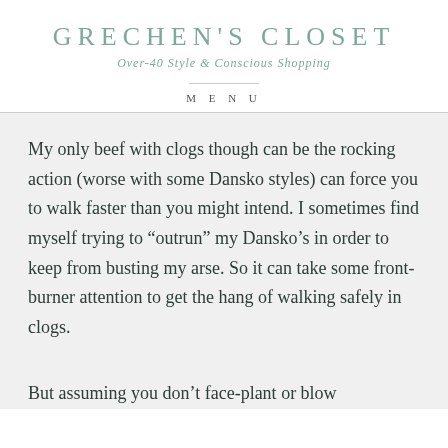GRECHEN'S CLOSET
Over-40 Style & Conscious Shopping
MENU
My only beef with clogs though can be the rocking action (worse with some Dansko styles) can force you to walk faster than you might intend. I sometimes find myself trying to “outrun” my Dansko’s in order to keep from busting my arse. So it can take some front-burner attention to get the hang of walking safely in clogs.
But assuming you don’t face-plant or blow